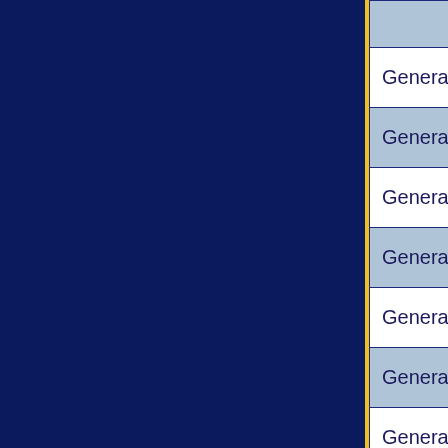| Type | Code | Description |
| --- | --- | --- |
| General | W614.160 | jet air co... |
| General | W614.175 | jet air co... |
| General | W614.180 | jet air co... |
| General | W614.195 | jet air co... |
| General | W614.200 | jet air co... |
| General | W614.210 | jet air co... |
| General | W614.220 | jet air co... |
| General | W614.230 | jet air... |